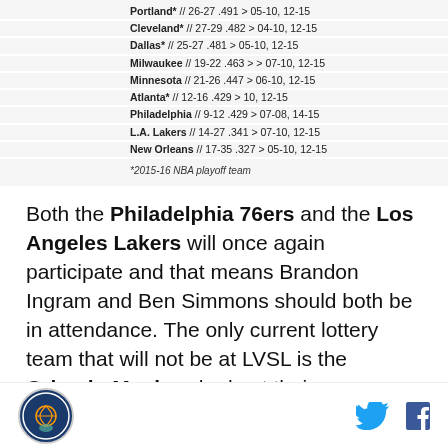Portland* // 26-27 .491 > 05-10, 12-15
Cleveland* // 27-29 .482 > 04-10, 12-15
Dallas* // 25-27 .481 > 05-10, 12-15
Milwaukee // 19-22 .463 > > 07-10, 12-15
Minnesota // 21-26 .447 > 06-10, 12-15
Atlanta* // 12-16 .429 > 10, 12-15
Philadelphia // 9-12 .429 > 07-08, 14-15
L.A. Lakers // 14-27 .341 > 07-10, 12-15
New Orleans // 17-35 .327 > 05-10, 12-15
*2015-16 NBA playoff team
Both the Philadelphia 76ers and the Los Angeles Lakers will once again participate and that means Brandon Ingram and Ben Simmons should both be in attendance. The only current lottery team that will not be at LVSL is the Orlando Magic, who host their own abbreviated summer league in Orlando. With the announced LSVL lineup, it is likely that in addition to Ingram and Simmons, the 9-day event will feature